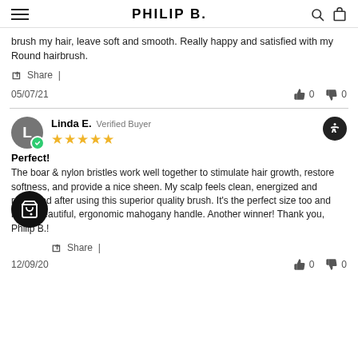PHILIP B.
brush my hair, leave soft and smooth. Really happy and satisfied with my Round hairbrush.
Share
05/07/21   👍 0   👎 0
Linda E.  Verified Buyer  ★★★★★
Perfect!
The boar & nylon bristles work well together to stimulate hair growth, restore softness, and provide a nice sheen. My scalp feels clean, energized and refreshed after using this superior quality brush. It's the perfect size too and has a beautiful, ergonomic mahogany handle. Another winner! Thank you, Philip B.!
Share
12/09/20   👍 0   👎 0